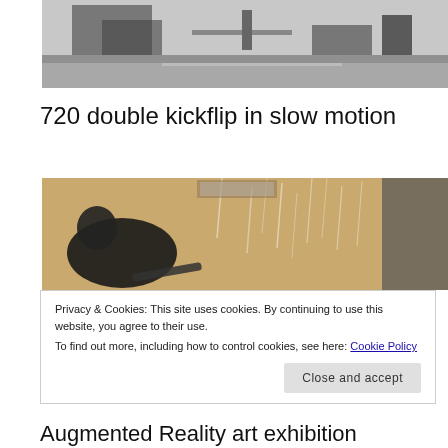[Figure (photo): Outdoor skate park scene, grayscale/muted tones, ramps and structures visible]
720 double kickflip in slow motion
[Figure (photo): Person sitting on floor in dark clothing in a large room with wood floor, blurred streaks of light visible]
Privacy & Cookies: This site uses cookies. By continuing to use this website, you agree to their use.
To find out more, including how to control cookies, see here: Cookie Policy
Close and accept
Augmented Reality art exhibition